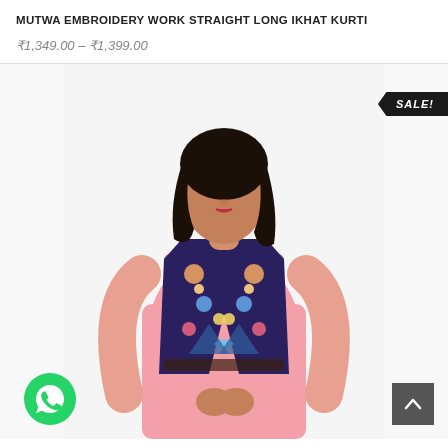MUTWA EMBROIDERY WORK STRAIGHT LONG IKHAT KURTI
₹1,349.00 – ₹1,399.00
[Figure (photo): A woman model wearing a pink long kurti with colorful mutwa embroidery work jacket/vest, posing against a white background. A 'SALE!' badge is shown in top-right corner. WhatsApp icon in bottom-left and back-to-top button in bottom-right.]